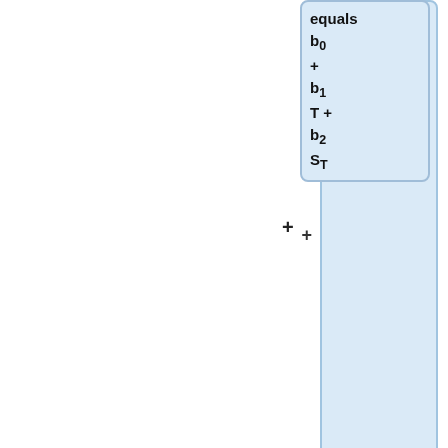equals b0 + b1 T + b2 S_T
|where:
* "Y_T : estimated yield in year